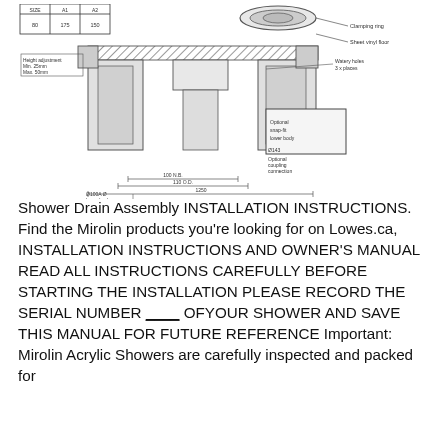[Figure (schematic): Cross-section engineering diagram of a shower drain assembly showing clamping ring, sheet vinyl floor, water holes (3 places), optional snap-fit lower body, optional coupling connection, lower body dimensions, height adjustment (Min. 25mm, Max. 50mm), and dimension callouts including 100 N.B., 110 O.D., and 1250. A table at top shows size values: 80, 111, 175, 150.]
Shower Drain Assembly INSTALLATION INSTRUCTIONS. Find the Mirolin products you're looking for on Lowes.ca, INSTALLATION INSTRUCTIONS AND OWNER'S MANUAL READ ALL INSTRUCTIONS CAREFULLY BEFORE STARTING THE INSTALLATION PLEASE RECORD THE SERIAL NUMBER ____ OFYOUR SHOWER AND SAVE THIS MANUAL FOR FUTURE REFERENCE Important: Mirolin Acrylic Showers are carefully inspected and packed for